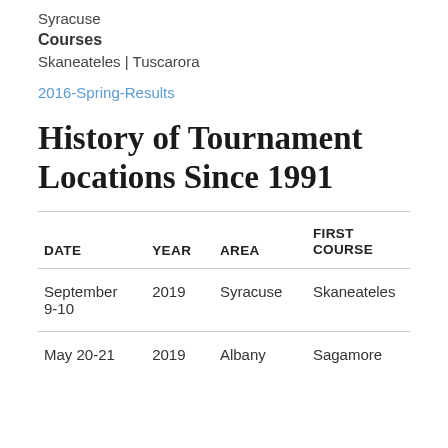Syracuse
Courses
Skaneateles | Tuscarora
2016-Spring-Results
History of Tournament Locations Since 1991
| DATE | YEAR | AREA | FIRST COURSE |
| --- | --- | --- | --- |
| September 9-10 | 2019 | Syracuse | Skaneateles |
| May 20-21 | 2019 | Albany | Sagamore |